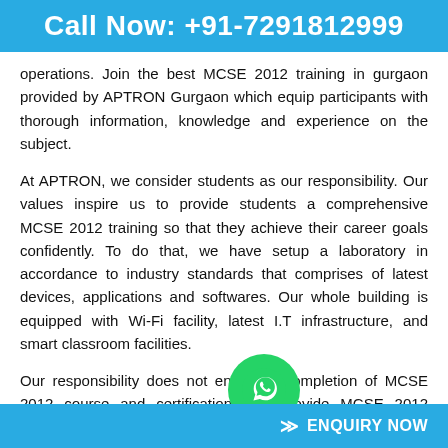Call Now: +91-7291812999
operations. Join the best MCSE 2012 training in gurgaon provided by APTRON Gurgaon which equip participants with thorough information, knowledge and experience on the subject.
At APTRON, we consider students as our responsibility. Our values inspire us to provide students a comprehensive MCSE 2012 training so that they achieve their career goals confidently. To do that, we have setup a laboratory in accordance to industry standards that comprises of latest devices, applications and softwares. Our whole building is equipped with Wi-Fi facility, latest I.T infrastructure, and smart classroom facilities.
Our responsibility does not end after completion of MCSE 2012 course and certification. We provide MCSE 2012 training course with placement solution to the students. Our placement team schedule p
ENQUIRY NOW